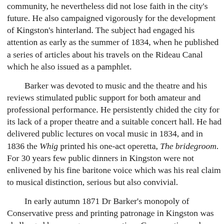community, he nevertheless did not lose faith in the city's future. He also campaigned vigorously for the development of Kingston's hinterland. The subject had engaged his attention as early as the summer of 1834, when he published a series of articles about his travels on the Rideau Canal which he also issued as a pamphlet.
Barker was devoted to music and the theatre and his reviews stimulated public support for both amateur and professional performance. He persistently chided the city for its lack of a proper theatre and a suitable concert hall. He had delivered public lectures on vocal music in 1834, and in 1836 the Whig printed his one-act operetta, The bridegroom. For 30 years few public dinners in Kingston were not enlivened by his fine baritone voice which was his real claim to musical distinction, serious but also convivial.
In early autumn 1871 Dr Barker's monopoly of Conservative press and printing patronage in Kingston was challenged by younger, more partisan Conservatives who had purchased the